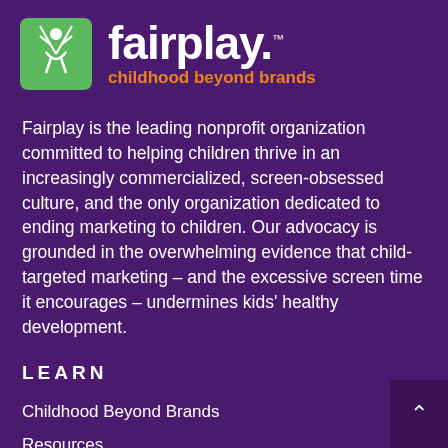[Figure (logo): Fairplay logo: green square with white child on swing silhouette icon on the left, 'fairplay.' in large white bold text on the right, with 'childhood beyond brands' in orange bold text below]
Fairplay is the leading nonprofit organization committed to helping children thrive in an increasingly commercialized, screen-obsessed culture, and the only organization dedicated to ending marketing to children. Our advocacy is grounded in the overwhelming evidence that child-targeted marketing – and the excessive screen time it encourages – undermines kids' healthy development.
LEARN
Childhood Beyond Brands
Resources